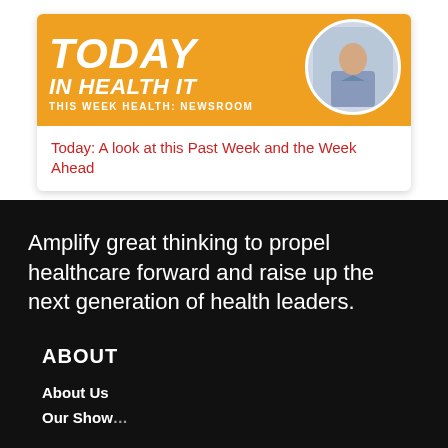[Figure (illustration): Banner graphic for 'Today In Health IT' podcast/newsroom with orange background, bold white italic text reading TODAY IN HEALTH IT, THIS WEEK HEALTH: NEWSROOM, and a circular photo of a person in blue shirt on the right side]
Today: A look at this Past Week and the Week Ahead
Amplify great thinking to propel healthcare forward and raise up the next generation of health leaders.
ABOUT
About Us
Our Shows